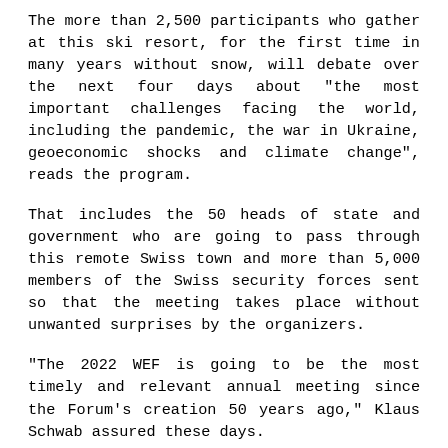The more than 2,500 participants who gather at this ski resort, for the first time in many years without snow, will debate over the next four days about "the most important challenges facing the world, including the pandemic, the war in Ukraine, geoeconomic shocks and climate change", reads the program.
That includes the 50 heads of state and government who are going to pass through this remote Swiss town and more than 5,000 members of the Swiss security forces sent so that the meeting takes place without unwanted surprises by the organizers.
"The 2022 WEF is going to be the most timely and relevant annual meeting since the Forum's creation 50 years ago," Klaus Schwab assured these days.
"The political, economic and social